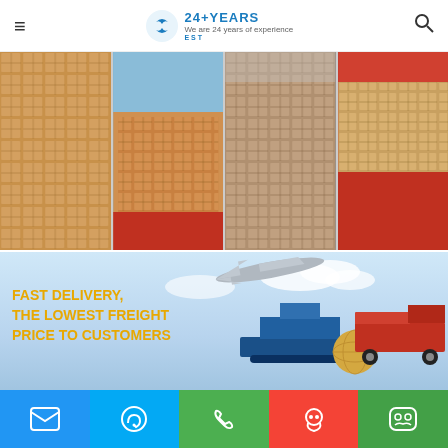≡  EST  24+YEARS  We are 24 years of experience  🔍
[Figure (photo): Four photos of cardboard boxes stacked in shipping containers and on trucks]
[Figure (infographic): Shipping banner with text FAST DELIVERY, THE LOWEST FREIGHT PRICE TO CUSTOMERS, showing airplane, cargo ship, globe, and truck with courier logos UPS, FedEx, SF Express, DHL, EMS, TNT]
Speakers
A Speaker or Loudspeaker typically offers a wider and flatter
Email | Skype | Phone | QQ | WeChat (bottom navigation icons)